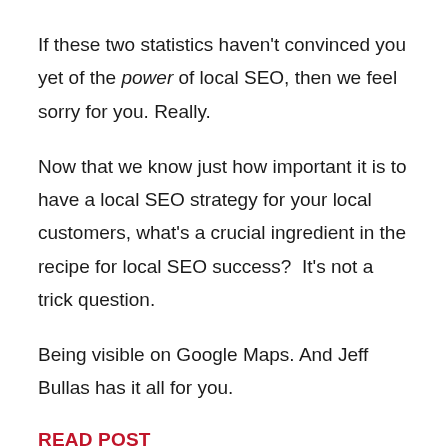If these two statistics haven't convinced you yet of the power of local SEO, then we feel sorry for you. Really.
Now that we know just how important it is to have a local SEO strategy for your local customers, what's a crucial ingredient in the recipe for local SEO success?  It's not a trick question.
Being visible on Google Maps. And Jeff Bullas has it all for you.
READ POST